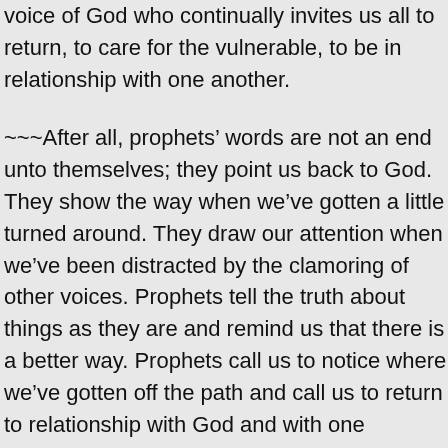voice of God who continually invites us all to return, to care for the vulnerable, to be in relationship with one another.
~~~After all, prophets' words are not an end unto themselves; they point us back to God. They show the way when we've gotten a little turned around. They draw our attention when we've been distracted by the clamoring of other voices. Prophets tell the truth about things as they are and remind us that there is a better way. Prophets call us to notice where we've gotten off the path and call us to return to relationship with God and with one another–to share a coat when we have two, to share food when we have extra. Prophets are channels for the words of God so that we might hear those words, live them, and be channels too. Prophets call us to do